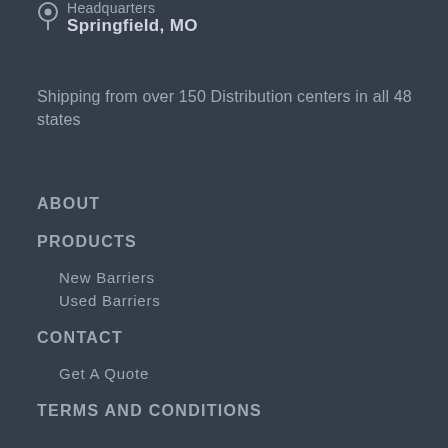Headquarters
Springfield, MO
Shipping from over 150 Distribution centers in all 48 states
ABOUT
PRODUCTS
New Barriers
Used Barriers
CONTACT
Get A Quote
TERMS AND CONDITIONS